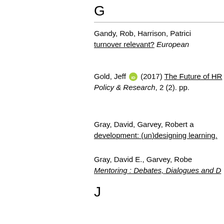G
Gandy, Rob, Harrison, Patrici... turnover relevant? European
Gold, Jeff (2017) The Future of HR... Policy & Research, 2 (2). pp.
Gray, David, Garvey, Robert a... development: (un)designing learning.
Gray, David E., Garvey, Robe... Mentoring : Debates, Dialogues and D
J
Jones, Ollie, Claxton, Julie ar... Illustrations of the Mediated Discourse... pp. 481-513.